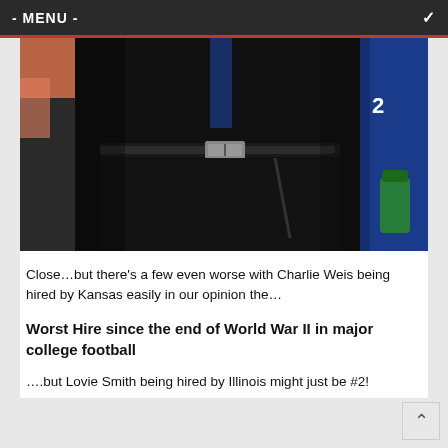- MENU -
[Figure (photo): Close-up photo of a large person wearing black clothing with a belt, standing on a sports sideline with players in blue jerseys visible in the background.]
Close…but there's a few even worse with Charlie Weis being hired by Kansas easily in our opinion the…
Worst Hire since the end of World War II in major college football
….but Lovie Smith being hired by Illinois might just be #2!